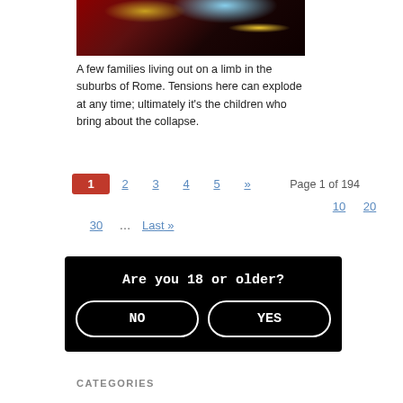[Figure (illustration): Partial view of an illustrated/painted scene showing a dark suburban house at night with glowing windows against a dark sky.]
A few families living out on a limb in the suburbs of Rome. Tensions here can explode at any time; ultimately it's the children who bring about the collapse.
Read More »
1  2  3  4  5  »  Page 1 of 194
10  20
30  ...  Last »
Are you 18 or older?
NO  YES
CATEGORIES